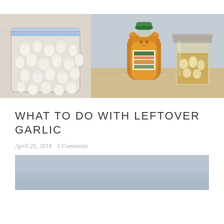[Figure (photo): Left: peeled garlic cloves in a zip-lock plastic bag on a marble surface. Right: a Kirkland organic raw honey bear-shaped bottle next to a mason jar filled with garlic cloves in honey, on a wooden surface.]
WHAT TO DO WITH LEFTOVER GARLIC
April 25, 2018   3 Comments
[Figure (photo): Partially visible photo with a light blue-grey background, appears to be the top portion of a food or ingredient photograph.]